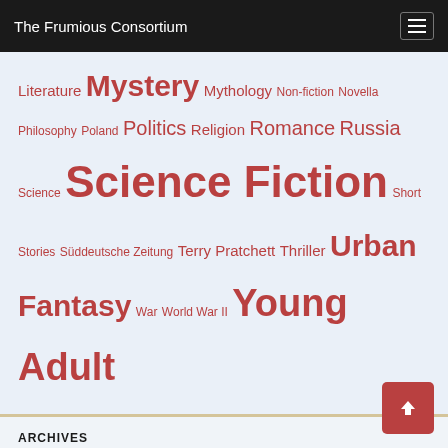The Frumious Consortium
Literature Mystery Mythology Non-fiction Novella Philosophy Poland Politics Religion Romance Russia Science Science Fiction Short Stories Süddeutsche Zeitung Terry Pratchett Thriller Urban Fantasy War World War II Young Adult
ARCHIVES
Select Month
THINGS WE LIKE
A Fistful of Euros
Making Light
John Scalzi
Mary Robinette Kowal